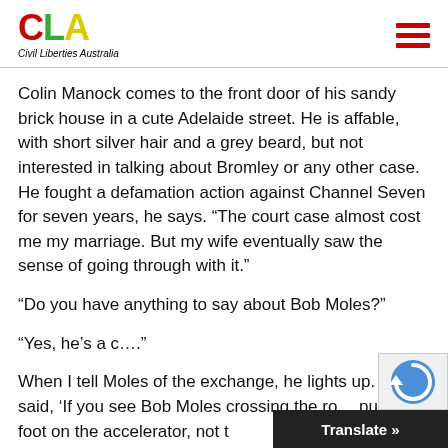CLA Civil Liberties Australia
Colin Manock comes to the front door of his sandy brick house in a cute Adelaide street. He is affable, with short silver hair and a grey beard, but not interested in talking about Bromley or any other case. He fought a defamation action against Channel Seven for seven years, he says. “The court case almost cost me my marriage. But my wife eventually saw the sense of going through with it.”
“Do you have anything to say about Bob Moles?”
“Yes, he’s a c….”
When I tell Moles of the exchange, he lights up. “... often said, ‘If you see Bob Moles crossing the ro... put your foot on the accelerator, not t